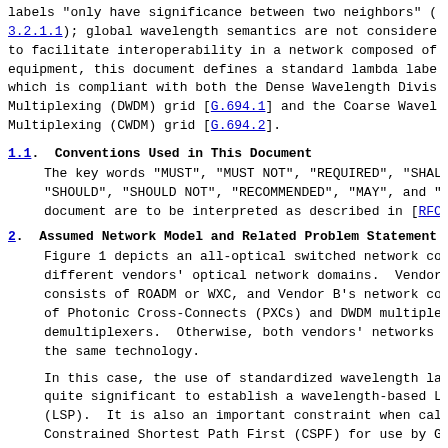labels "only have significance between two neighbors" (Section 3.2.1.1); global wavelength semantics are not considered. to facilitate interoperability in a network composed of equipment, this document defines a standard lambda label which is compliant with both the Dense Wavelength Division Multiplexing (DWDM) grid [G.694.1] and the Coarse Wavelength Multiplexing (CWDM) grid [G.694.2].
1.1.  Conventions Used in This Document
The key words "MUST", "MUST NOT", "REQUIRED", "SHALL", "SHOULD", "SHOULD NOT", "RECOMMENDED", "MAY", and "OPTIONAL" in this document are to be interpreted as described in [RFC2119].
2.  Assumed Network Model and Related Problem Statement
Figure 1 depicts an all-optical switched network consisting of different vendors' optical network domains. Vendor A's network consists of ROADM or WXC, and Vendor B's network consists of Photonic Cross-Connects (PXCs) and DWDM multiplexers/ demultiplexers. Otherwise, both vendors' networks might use the same technology.
In this case, the use of standardized wavelength labels is quite significant to establish a wavelength-based Label Switched Path (LSP). It is also an important constraint when calculating Constrained Shortest Path First (CSPF) for use by Generalized Protocol Label Switching (GMPLS) Resource ReserVation Protocol Traffic Engineering (RSVP-TE) signaling [RFC3473]. The way this is performed is outside the scope of this document.